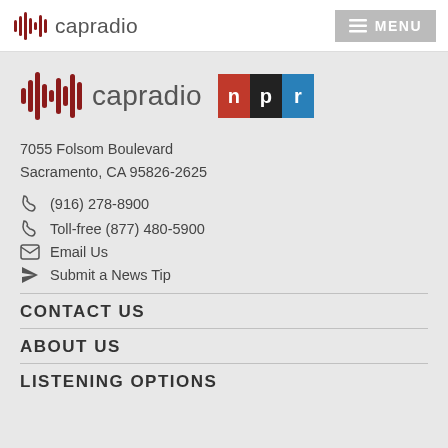capradio | MENU
[Figure (logo): capradio logo with sound wave bars and NPR badge]
7055 Folsom Boulevard
Sacramento, CA 95826-2625
(916) 278-8900
Toll-free (877) 480-5900
Email Us
Submit a News Tip
CONTACT US
ABOUT US
LISTENING OPTIONS